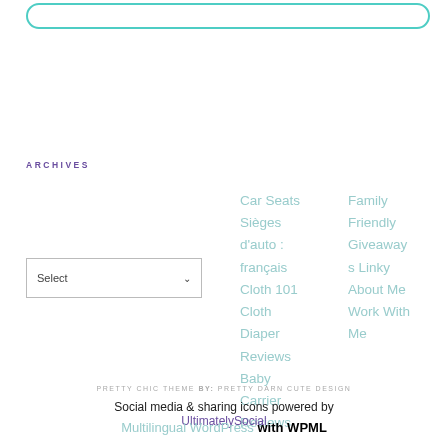ARCHIVES
Car Seats
Sièges d'auto : français
Cloth 101
Cloth Diaper Reviews
Baby Carrier Reviews
Family
Friendly Giveaways Linky
About Me
Work With Me
PRETTY CHIC THEME BY: PRETTY DARN CUTE DESIGN
Social media & sharing icons powered by UltimatelySocial
Multilingual WordPress with WPML